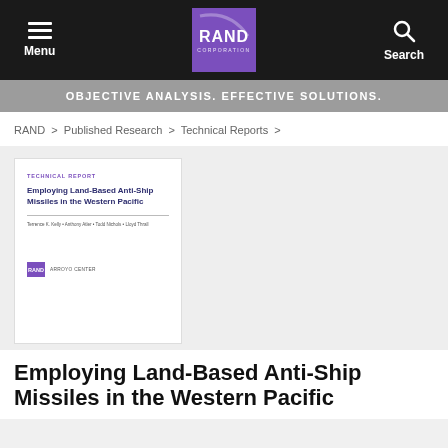Menu | RAND Corporation | Search
OBJECTIVE ANALYSIS. EFFECTIVE SOLUTIONS.
RAND > Published Research > Technical Reports >
[Figure (other): Cover of RAND Technical Report: Employing Land-Based Anti-Ship Missiles in the Western Pacific]
Employing Land-Based Anti-Ship Missiles in the Western Pacific